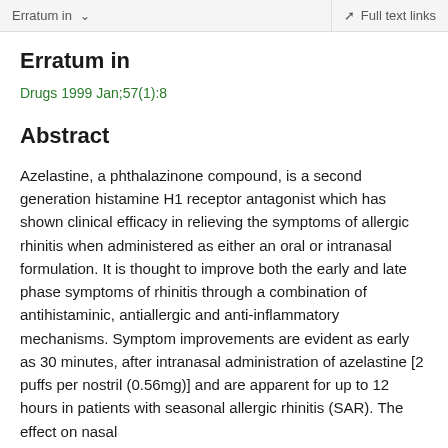Erratum in    Full text links
Erratum in
Drugs 1999 Jan;57(1):8
Abstract
Azelastine, a phthalazinone compound, is a second generation histamine H1 receptor antagonist which has shown clinical efficacy in relieving the symptoms of allergic rhinitis when administered as either an oral or intranasal formulation. It is thought to improve both the early and late phase symptoms of rhinitis through a combination of antihistaminic, antiallergic and anti-inflammatory mechanisms. Symptom improvements are evident as early as 30 minutes, after intranasal administration of azelastine [2 puffs per nostril (0.56mg)] and are apparent for up to 12 hours in patients with seasonal allergic rhinitis (SAR). The effect on nasal